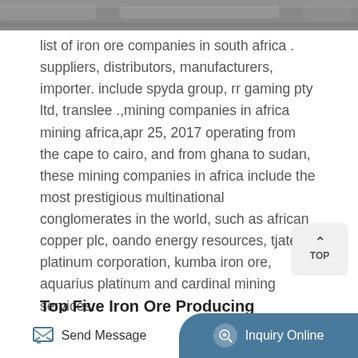[Figure (photo): Partial image at the top of the page, appears to be a mining or outdoor scene]
list of iron ore companies in south africa . suppliers, distributors, manufacturers, importer. include spyda group, rr gaming pty ltd, translee .,mining companies in africa mining africa,apr 25, 2017 operating from the cape to cairo, and from ghana to sudan, these mining companies in africa include the most prestigious multinational conglomerates in the world, such as african copper plc, oando energy resources, tjate platinum corporation, kumba iron ore, aquarius platinum and cardinal mining services.
Top Five Iron Ore Producing Companies In 2020 By Mining
[Figure (photo): Partial image at the bottom showing a light blue sky or water scene]
Send Message   Inquiry Online